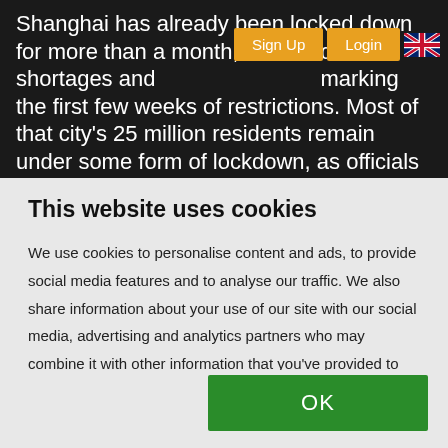Shanghai has already been locked down for more than a month, with food shortages and ... marking the first few weeks of restrictions. Most of that city's 25 million residents remain under some form of lockdown, as officials seek to eliminate Covid from within the community, despite the increasing economic and social costs.
This website uses cookies
We use cookies to personalise content and ads, to provide social media features and to analyse our traffic. We also share information about your use of our site with our social media, advertising and analytics partners who may combine it with other information that you've provided to them or that they've collected from your use of their services